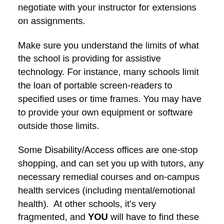negotiate with your instructor for extensions on assignments.
Make sure you understand the limits of what the school is providing for assistive technology. For instance, many schools limit the loan of portable screen-readers to specified uses or time frames. You may have to provide your own equipment or software outside those limits.
Some Disability/Access offices are one-stop shopping, and can set you up with tutors, any necessary remedial courses and on-campus health services (including mental/emotional health). At other schools, it’s very fragmented, and YOU will have to find these services separately, even when they are related to your disability.
Most such services are available through departments labeled “Student Services”, “Student Success Services”, “Counseling”, “Health Services” and the like. If you are